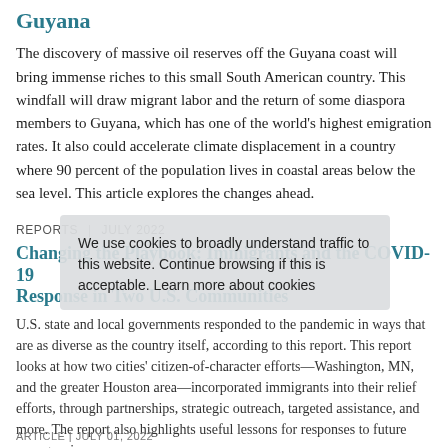Guyana
The discovery of massive oil reserves off the Guyana coast will bring immense riches to this small South American country. This windfall will draw migrant labor and the return of some diaspora members to Guyana, which has one of the world's highest emigration rates. It also could accelerate climate displacement in a country where 90 percent of the population lives in coastal areas below the sea level. This article explores the changes ahead.
REPORTS | JULY 2022
Changing the Playbook: Immigrants and the COVID-19 Response in Two U.S. Communities
U.S. state and local governments responded to the pandemic in ways that are as diverse as the country itself, according to this report. This report looks at how two cities' citizen-of-character efforts—Washington, MN, and the greater Houston area—incorporated immigrants into their relief efforts, through partnerships, strategic outreach, targeted assistance, and more. The report also highlights useful lessons for responses to future emergencies.
We use cookies to broadly understand traffic to this website. Continue browsing if this is acceptable.  Learn more about cookies
I understand
ARTICLE | JULY 01, 2022